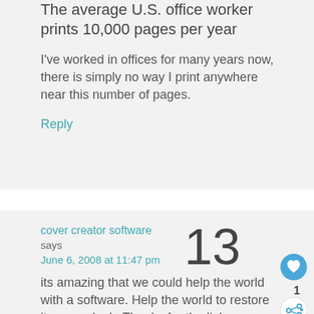The average U.S. office worker prints 10,000 pages per year
I've worked in offices for many years now, there is simply no way I print anywhere near this number of pages.
Reply
cover creator software says June 6, 2008 at 11:47 pm
13
its amazing that we could help the world with a software. Help the world to restore its green look. Thanks for the links.